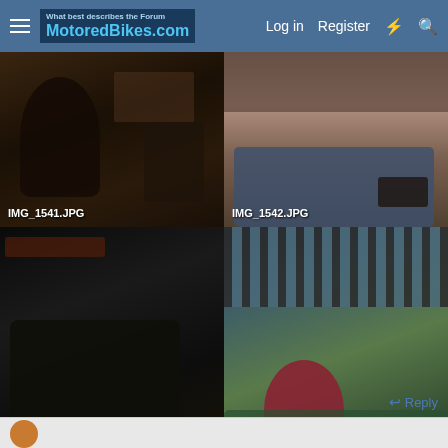MotoredBikes.com — Log in  Register
[Figure (photo): Dark interior workshop scene with person, labeled IMG_1541.JPG]
[Figure (photo): Person in jeans lying on ground with parts, labeled IMG_1542.JPG]
[Figure (photo): Old motorized bicycle in workshop, labeled IMG_1543.JPG]
[Figure (photo): Close-up of red flower or ornament on green surface with striped background, labeled IMG_1491.JPG]
Reply